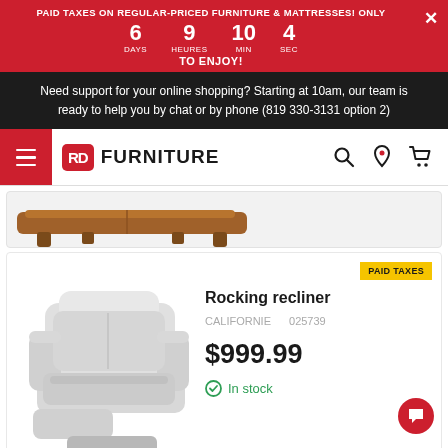PAID TAXES ON REGULAR-PRICED FURNITURE & MATTRESSES! ONLY | 6 DAYS 9 HEURES 10 MIN 4 SEC | TO ENJOY!
Need support for your online shopping? Starting at 10am, our team is ready to help you by chat or by phone (819 330-3131 option 2)
[Figure (logo): RD Furniture logo with hamburger menu and navigation icons]
[Figure (photo): Bottom portion of a brown sofa/couch product]
[Figure (photo): White/grey rocking recliner chair]
PAID TAXES
Rocking recliner
CALIFORNIE    025739
$999.99
In stock